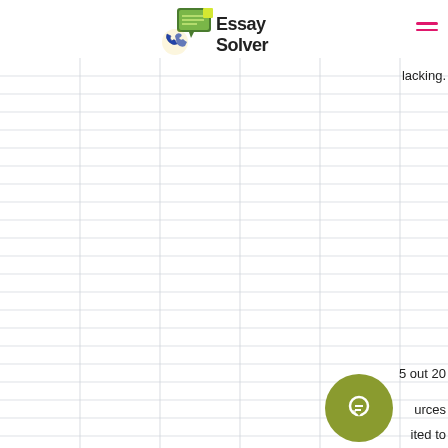Essay Solver
[Figure (screenshot): Essay Solver website header with logo (phone icon + speech bubble icon) and hamburger menu in pink/magenta]
lacking.
[Figure (illustration): Lined notebook paper background with grid columns]
5 out 20
urces
ited to
[Figure (other): Olive green circular chat/message button icon]